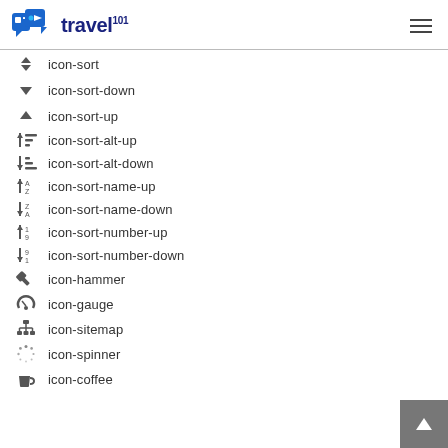travel 101
icon-sort
icon-sort-down
icon-sort-up
icon-sort-alt-up
icon-sort-alt-down
icon-sort-name-up
icon-sort-name-down
icon-sort-number-up
icon-sort-number-down
icon-hammer
icon-gauge
icon-sitemap
icon-spinner
icon-coffee